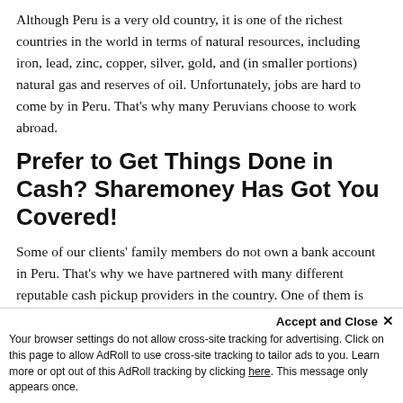Although Peru is a very old country, it is one of the richest countries in the world in terms of natural resources, including iron, lead, zinc, copper, silver, gold, and (in smaller portions) natural gas and reserves of oil. Unfortunately, jobs are hard to come by in Peru. That's why many Peruvians choose to work abroad.
Prefer to Get Things Done in Cash? Sharemoney Has Got You Covered!
Some of our clients' family members do not own a bank account in Peru. That's why we have partnered with many different reputable cash pickup providers in the country. One of them is Elektra. You can enjoy complete peace of mind that there is a wide range of Elektra cash pickup locations to choose from. Your loved ones can easily select a cash pickup
Accept and Close ✕
Your browser settings do not allow cross-site tracking for advertising. Click on this page to allow AdRoll to use cross-site tracking to tailor ads to you. Learn more or opt out of this AdRoll tracking by clicking here. This message only appears once.